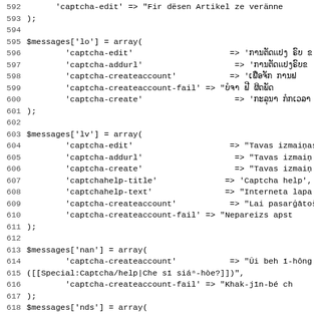Source code listing lines 592-623, PHP array definitions for captcha messages in multiple languages (lo, lv, nan, nds)